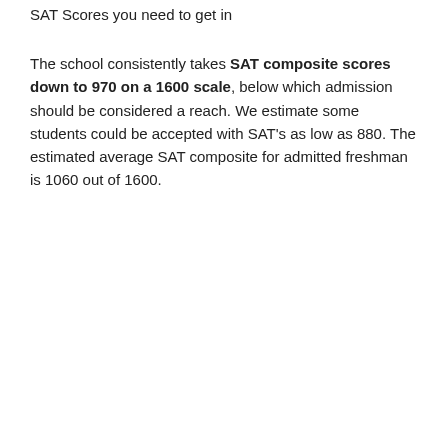SAT Scores you need to get in
The school consistently takes SAT composite scores down to 970 on a 1600 scale, below which admission should be considered a reach. We estimate some students could be accepted with SAT’s as low as 880. The estimated average SAT composite for admitted freshman is 1060 out of 1600.